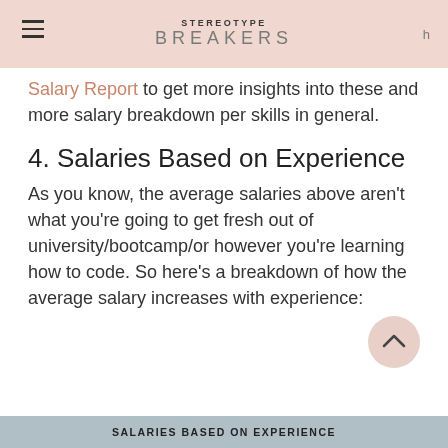STEREOTYPE BREAKERS
Salary Report to get more insights into these and more salary breakdown per skills in general.
4. Salaries Based on Experience
As you know, the average salaries above aren't what you're going to get fresh out of university/bootcamp/or however you're learning how to code. So here's a breakdown of how the average salary increases with experience:
| SALARIES BASED ON EXPERIENCE |
| --- |